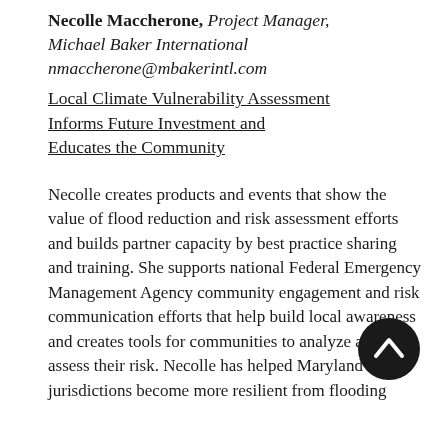Necolle Maccherone, Project Manager, Michael Baker International nmaccherone@mbakerintl.com
Local Climate Vulnerability Assessment Informs Future Investment and Educates the Community
Necolle creates products and events that show the value of flood reduction and risk assessment efforts and builds partner capacity by best practice sharing and training. She supports national Federal Emergency Management Agency community engagement and risk communication efforts that help build local awareness and creates tools for communities to analyze and assess their risk. Necolle has helped Maryland jurisdictions become more resilient from flooding
[Figure (other): Dark circular scroll-to-top button with upward chevron arrow]